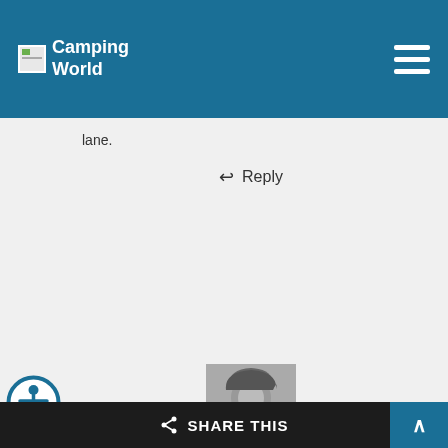Camping World
lane.
↩ Reply
[Figure (photo): Profile photo of Shelley Dennis, black and white headshot of a woman smiling]
Shelley Dennis
April 30, 2018 at 4:05 pm
Glad you enjoyed the article, Kelly! You'd fit
SHARE THIS